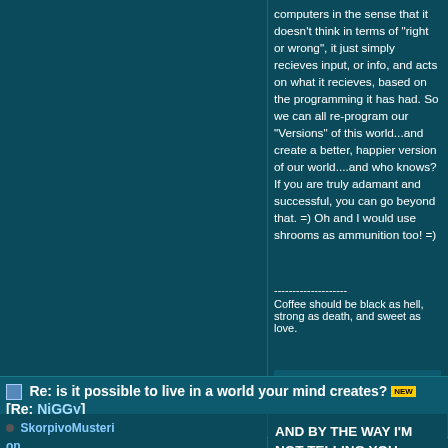computers in the sense that it doesn't think in terms of "right or wrong", it just simply recieves input, or info, and acts on what it recieves, based on the programming it has had. So we can all re-program our "Versions" of this world...and create a better, happier version of our world....and who knows? If you are truly adamant and successful, you can go beyond that. =) Oh and I would use shrooms as ammunition too! =)
--------------------
Coffee should be black as hell, strong as death, and sweet as love.
Extras:
Re: is it possible to live in a world your mind creates? [NEW] [Re: NiGGy]
#1293859 - 02/09/03 04:34 PM (19 years, 6 months)
SkorpivoMusteri on
Livin in theTwilight Zone...
AND BY THE WAY I'M NOT TELLING YOU ANYTHING THAT YOU DON'T ALREADY KNOW......=)